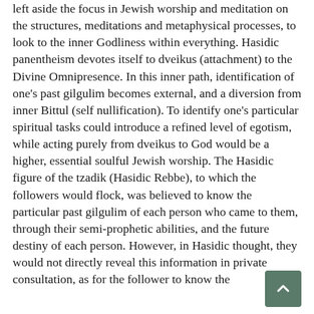left aside the focus in Jewish worship and meditation on the structures, meditations and metaphysical processes, to look to the inner Godliness within everything. Hasidic panentheism devotes itself to dveikus (attachment) to the Divine Omnipresence. In this inner path, identification of one's past gilgulim becomes external, and a diversion from inner Bittul (self nullification). To identify one's particular spiritual tasks could introduce a refined level of egotism, while acting purely from dveikus to God would be a higher, essential soulful Jewish worship. The Hasidic figure of the tzadik (Hasidic Rebbe), to which the followers would flock, was believed to know the particular past gilgulim of each person who came to them, through their semi-prophetic abilities, and the future destiny of each person. However, in Hasidic thought, they would not directly reveal this information in private consultation, as for the follower to know the